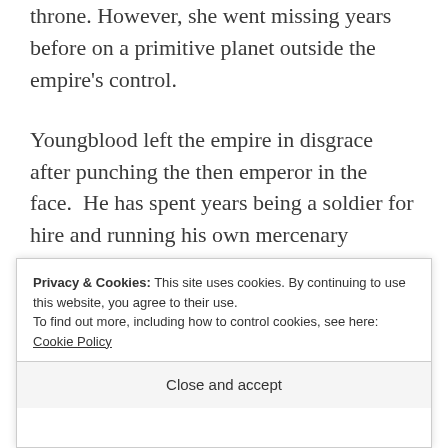throne. However, she went missing years before on a primitive planet outside the empire's control.
Youngblood left the empire in disgrace after punching the then emperor in the face.  He has spent years being a soldier for hire and running his own mercenary company.
When Fitzwarren appears in the middle
Privacy & Cookies: This site uses cookies. By continuing to use this website, you agree to their use.
To find out more, including how to control cookies, see here: Cookie Policy
Close and accept
time lover, Ransahov. The two team up